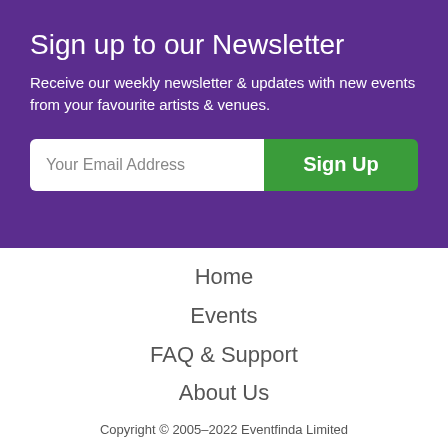Sign up to our Newsletter
Receive our weekly newsletter & updates with new events from your favourite artists & venues.
Your Email Address
Sign Up
Home
Events
FAQ & Support
About Us
Copyright © 2005–2022 Eventfinda Limited